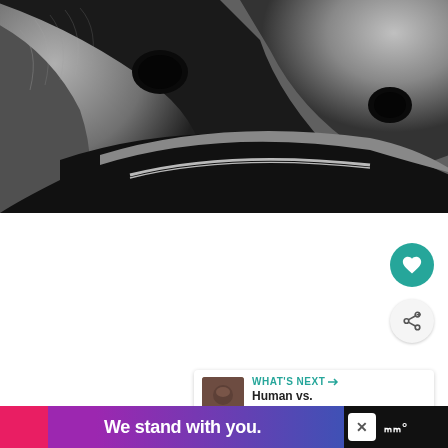[Figure (photo): Close-up black and white photograph of curved metallic or rubber surfaces, possibly tire or industrial component, with two dark holes/voids visible in the upper portion.]
[Figure (screenshot): UI overlay showing a teal heart/like button, a share button, and a 'What's Next' card showing a thumbnail and text 'Human vs. Tiger: Can a...' on a white background.]
[Figure (infographic): Advertisement banner at bottom reading 'We stand with you.' in white bold text on pink, purple, and blue gradient background, with a close button and a logo on the right.]